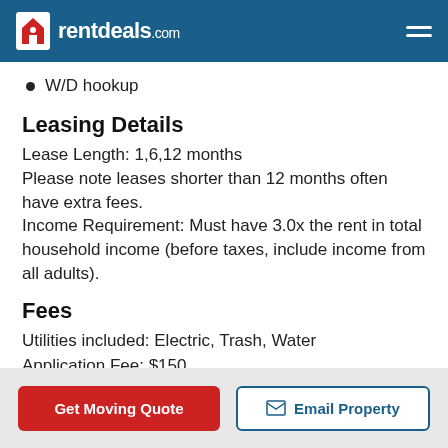rentdeals.com
W/D hookup
Leasing Details
Lease Length: 1,6,12 months
Please note leases shorter than 12 months often have extra fees.
Income Requirement: Must have 3.0x the rent in total household income (before taxes, include income from all adults).
Fees
Utilities included: Electric, Trash, Water
Application Fee: $150